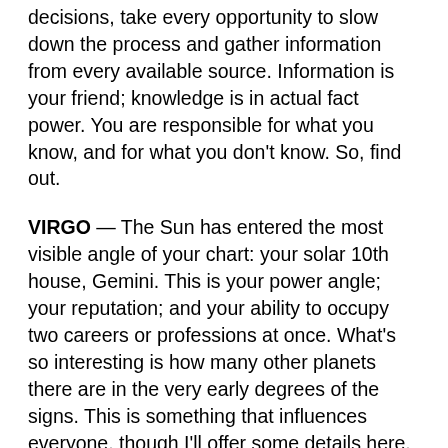decisions, take every opportunity to slow down the process and gather information from every available source. Information is your friend; knowledge is in actual fact power. You are responsible for what you know, and for what you don't know. So, find out.
VIRGO — The Sun has entered the most visible angle of your chart: your solar 10th house, Gemini. This is your power angle; your reputation; and your ability to occupy two careers or professions at once. What's so interesting is how many other planets there are in the very early degrees of the signs. This is something that influences everyone, though I'll offer some details here. The condition of those planets says a lot...